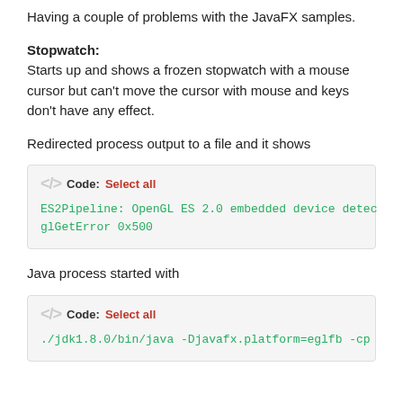Having a couple of problems with the JavaFX samples.
Stopwatch:
Starts up and shows a frozen stopwatch with a mouse cursor but can't move the cursor with mouse and keys don't have any effect.
Redirected process output to a file and it shows
[Figure (screenshot): Code box with header 'Code: Select all' and monospace green text: ES2Pipeline: OpenGL ES 2.0 embedded device detec / glGetError 0x500]
Java process started with
[Figure (screenshot): Code box with header 'Code: Select all' and monospace green text: ./jdk1.8.0/bin/java -Djavafx.platform=eglfb -cp]